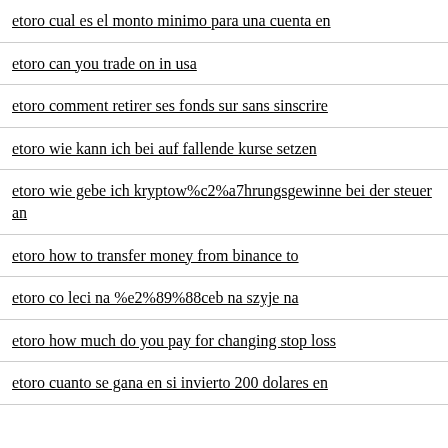etoro cual es el monto minimo para una cuenta en
etoro can you trade on in usa
etoro comment retirer ses fonds sur sans sinscrire
etoro wie kann ich bei auf fallende kurse setzen
etoro wie gebe ich kryptow%c2%a7hrungsgewinne bei der steuer an
etoro how to transfer money from binance to
etoro co leci na %e2%89%88ceb na szyje na
etoro how much do you pay for changing stop loss
etoro cuanto se gana en si invierto 200 dolares en